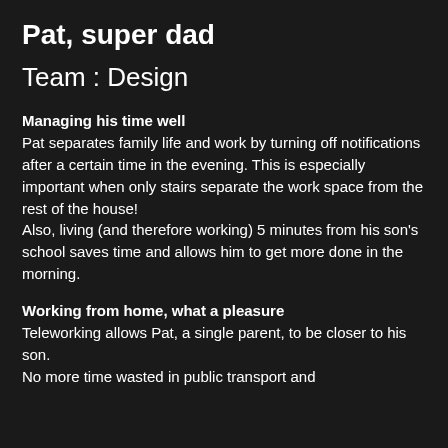Pat, super dad
Team : Design
Managing his time well
Pat separates family life and work by turning off notifications after a certain time in the evening. This is especially important when only stairs separate the work space from the rest of the house! Also, living (and therefore working) 5 minutes from his son's school saves time and allows him to get more done in the morning.
Working from home, what a pleasure
Teleworking allows Pat, a single parent, to be closer to his son.
No more time wasted in public transport and